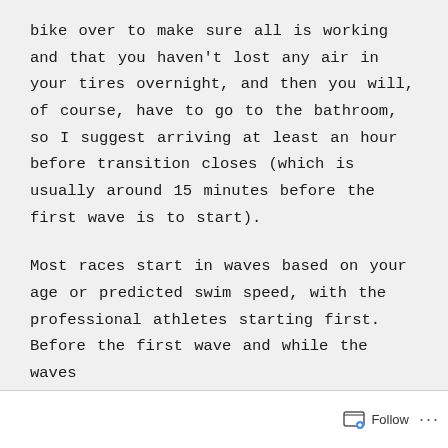bike over to make sure all is working and that you haven't lost any air in your tires overnight, and then you will, of course, have to go to the bathroom, so I suggest arriving at least an hour before transition closes (which is usually around 15 minutes before the first wave is to start).
Most races start in waves based on your age or predicted swim speed, with the professional athletes starting first. Before the first wave and while the waves